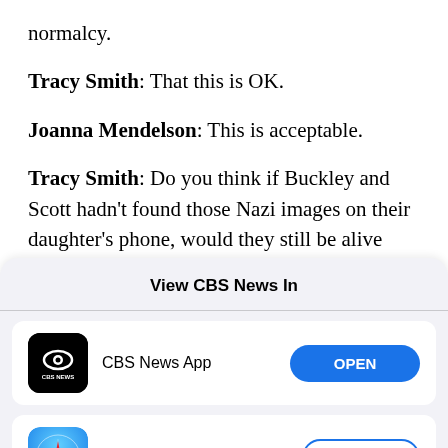normalcy.
Tracy Smith: That this is OK.
Joanna Mendelson: This is acceptable.
Tracy Smith: Do you think if Buckley and Scott hadn't found those Nazi images on their daughter's phone, would they still be alive today?
View CBS News In
[Figure (screenshot): CBS News App icon (black square with CBS eye logo) with OPEN button]
CBS News App
[Figure (screenshot): Safari app icon (compass) with CONTINUE button]
Safari